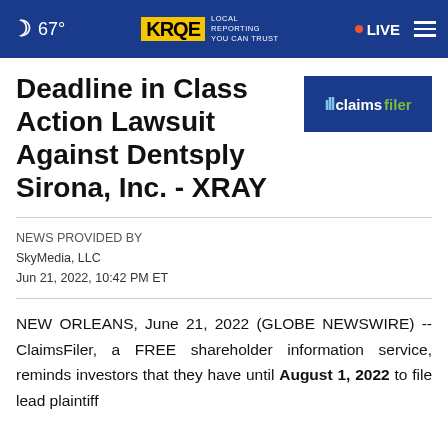67° KRQE LOCAL REPORTING YOU CAN TRUST · LIVE
Deadline in Class Action Lawsuit Against Dentsply Sirona, Inc. - XRAY
[Figure (logo): ClaimsFiler advertisement logo on blue background]
NEWS PROVIDED BY
SkyMedia, LLC
Jun 21, 2022, 10:42 PM ET
NEW ORLEANS, June 21, 2022 (GLOBE NEWSWIRE) -- ClaimsFiler, a FREE shareholder information service, reminds investors that they have until August 1, 2022 to file lead plaintiff